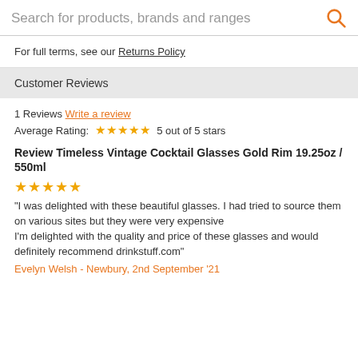Search for products, brands and ranges
For full terms, see our Returns Policy
Customer Reviews
1 Reviews Write a review
Average Rating: ★★★★★ 5 out of 5 stars
Review Timeless Vintage Cocktail Glasses Gold Rim 19.25oz / 550ml
★★★★★
"I was delighted with these beautiful glasses. I had tried to source them on various sites but they were very expensive
I'm delighted with the quality and price of these glasses and would definitely recommend drinkstuff.com"
Evelyn Welsh - Newbury, 2nd September '21